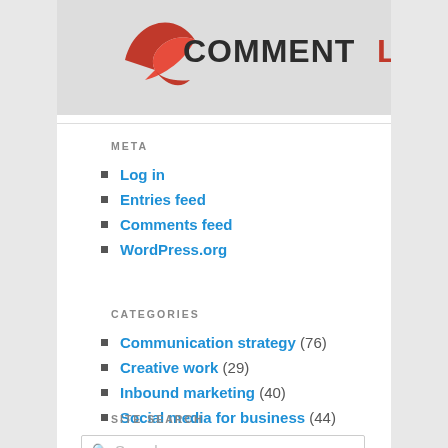[Figure (logo): CommentLuv logo with red bird/wing icon and stylized text on grey background]
META
Log in
Entries feed
Comments feed
WordPress.org
CATEGORIES
Communication strategy (76)
Creative work (29)
Inbound marketing (40)
Social media for business (44)
The ad business (37)
SITE SEARCH
Search